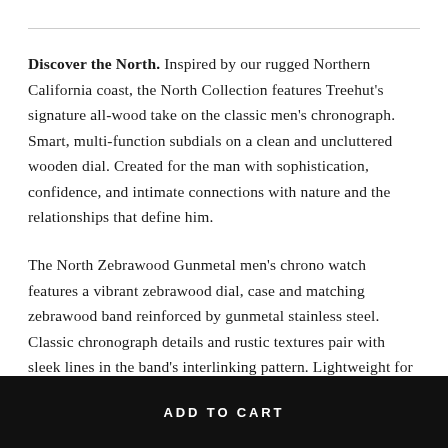Discover the North. Inspired by our rugged Northern California coast, the North Collection features Treehut's signature all-wood take on the classic men's chronograph. Smart, multi-function subdials on a clean and uncluttered wooden dial. Created for the man with sophistication, confidence, and intimate connections with nature and the relationships that define him.
The North Zebrawood Gunmetal men's chrono watch features a vibrant zebrawood dial, case and matching zebrawood band reinforced by gunmetal stainless steel. Classic chronograph details and rustic textures pair with sleek lines in the band's interlinking pattern. Lightweight for everyday wear.
ADD TO CART